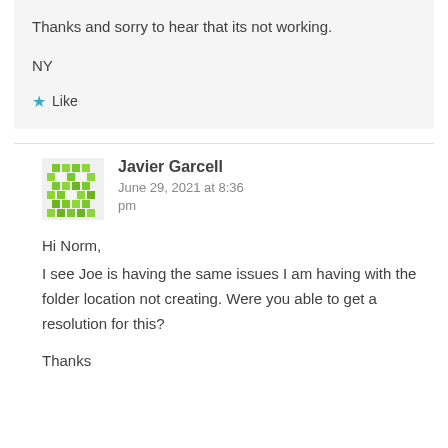Thanks and sorry to hear that its not working.
NY
★ Like
Javier Garcell
June 29, 2021 at 8:36 pm
Hi Norm,
I see Joe is having the same issues I am having with the folder location not creating. Were you able to get a resolution for this?

Thanks